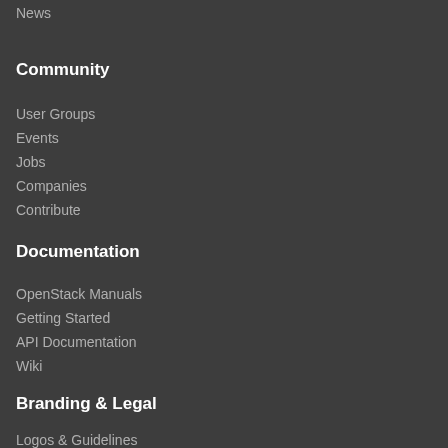News
Community
User Groups
Events
Jobs
Companies
Contribute
Documentation
OpenStack Manuals
Getting Started
API Documentation
Wiki
Branding & Legal
Logos & Guidelines
Trademark Policy
Privacy Policy
OpenStack CLA